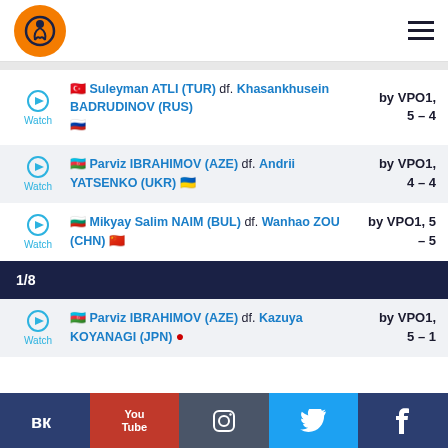Wrestling logo and navigation header
Suleyman ATLI (TUR) df. Khasankhusein BADRUDINOV (RUS) by VPO1, 5 – 4
Parviz IBRAHIMOV (AZE) df. Andrii YATSENKO (UKR) by VPO1, 4 – 4
Mikyay Salim NAIM (BUL) df. Wanhao ZOU (CHN) by VPO1, 5 – 5
1/8
Parviz IBRAHIMOV (AZE) df. Kazuya KOYANAGI (JPN) by VPO1, 5 – 1
VK | YouTube | Instagram | Twitter | Facebook